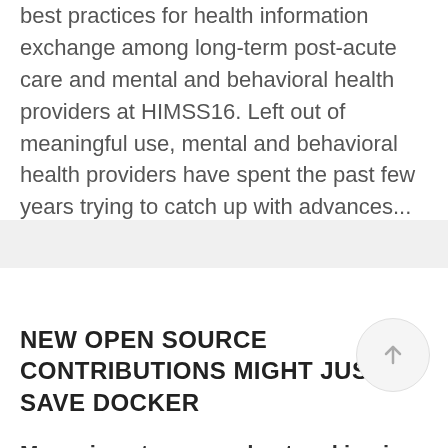best practices for health information exchange among long-term post-acute care and mental and behavioral health providers at HIMSS16. Left out of meaningful use, mental and behavioral health providers have spent the past few years trying to catch up with advances...
11 February, 2016 / 0 Comments
NEW OPEN SOURCE CONTRIBUTIONS MIGHT JUST SAVE DOCKER
Managing storage and networking in Docker containers can be a nightmare. New Kubernetes contributions and best...